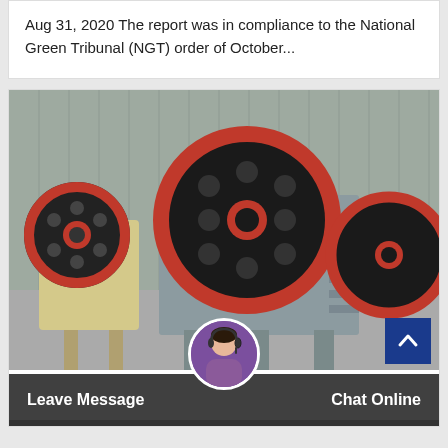Aug 31, 2020 The report was in compliance to the National Green Tribunal (NGT) order of October...
[Figure (photo): Industrial jaw crusher machines with large red-rimmed flywheels, photographed inside a factory/warehouse with corrugated metal walls.]
Leave Message
Chat Online
Artisanal Mining An Economic Stepping Ston...